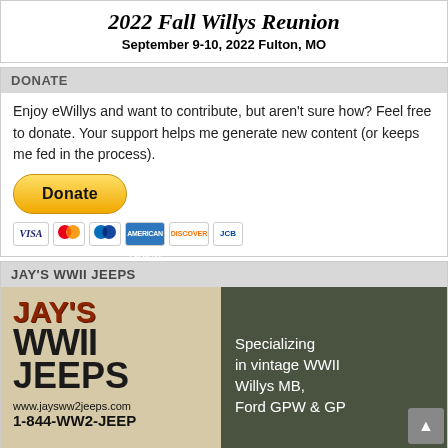2022 Fall Willys Reunion
September 9-10, 2022 Fulton, MO
DONATE
Enjoy eWillys and want to contribute, but aren't sure how? Feel free to donate. Your support helps me generate new content (or keeps me fed in the process).
[Figure (other): PayPal Donate button with payment icons (Visa, Mastercard, PayPal, AmEx, Discover, JCB)]
JAY'S WWII JEEPS
[Figure (illustration): Jay's WWII Jeeps advertisement. Left side: tan background with red 'JAY'S' text, black 'WWII JEEPS' text, website www.jaysww2jeeps.com and phone 1-844-WW2-JEEP. Right side: dark olive background with white text 'Specializing in vintage WWII Willys MB, Ford GPW & GP']